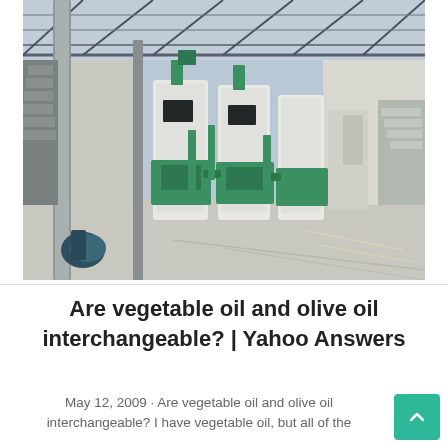[Figure (photo): Industrial oil processing facility interior showing large green and white oil press machines lined up in a warehouse with a metal roof structure. Multiple heavy-duty oil extraction machines are visible.]
Are vegetable oil and olive oil interchangeable? | Yahoo Answers
May 12, 2009 · Are vegetable oil and olive oil interchangeable? I have vegetable oil, but all of the recipes for food I want to make straight oil...